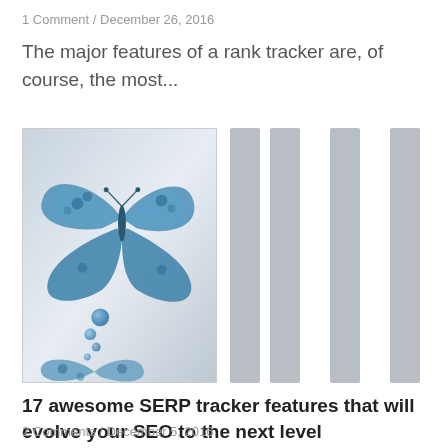1 Comment / December 26, 2016
The major features of a rank tracker are, of course, the most...
[Figure (illustration): Blue mechanical butterfly illustration on a gray gradient background, with small blue gear-like spheres trailing below it. Additional butterfly image partially visible at bottom. Image is partially visible with gray placeholder bars alongside.]
17 awesome SERP tracker features that will evolve your SEO to the next level
2 Comments / December 5, 2016